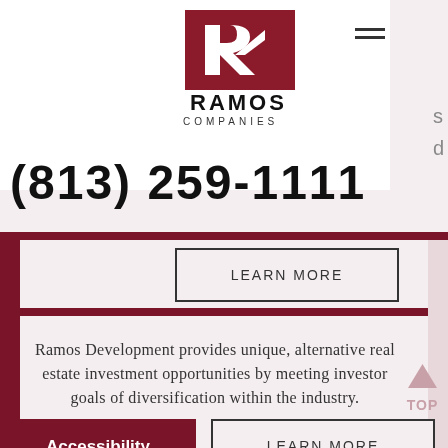[Figure (logo): Ramos Companies logo — red square with white R arrow, bold text RAMOS COMPANIES below]
(813) 259-1111
LEARN MORE
Ramos Development provides unique, alternative real estate investment opportunities by meeting investor goals of diversification within the industry.
LEARN MORE
Accessibility